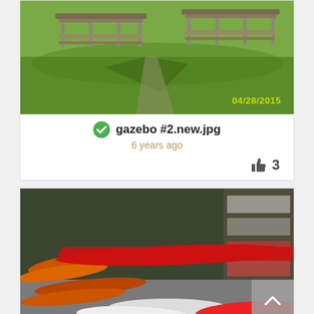[Figure (photo): Outdoor photo showing a gazebo or picnic shelter with benches on a grassy hill, taken on 04/28/2015. Yellow date stamp visible in lower right.]
gazebo #2.new.jpg
6 years ago
👍 3
[Figure (photo): Photo of multiple kayaks (orange, red, white) stored indoors on a concrete floor near a rack or shelving unit.]